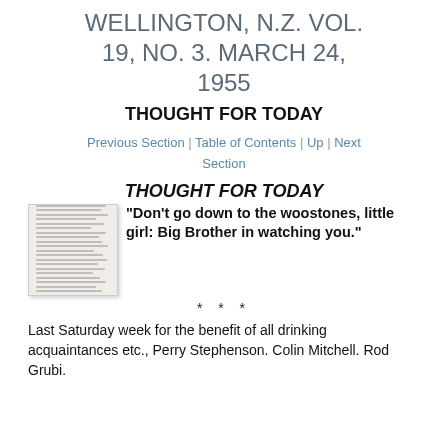WELLINGTON, N.Z. VOL. 19, NO. 3. MARCH 24, 1955
THOUGHT FOR TODAY
Previous Section | Table of Contents | Up | Next Section
THOUGHT FOR TODAY
[Figure (photo): Thumbnail image of a document page with dense text lines]
"Don't go down to the woostones, little girl: Big Brother in watching you."
* * *
Last Saturday week for the benefit of all drinking acquaintances etc., Perry Stephenson. Colin Mitchell. Rod Grubi.